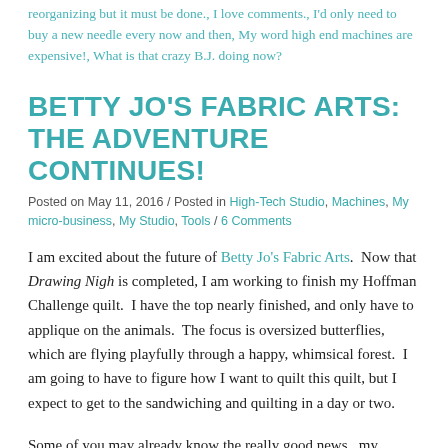reorganizing but it must be done., I love comments., I'd only need to buy a new needle every now and then, My word high end machines are expensive!, What is that crazy B.J. doing now?
BETTY JO'S FABRIC ARTS: THE ADVENTURE CONTINUES!
Posted on May 11, 2016 / Posted in High-Tech Studio, Machines, My micro-business, My Studio, Tools / 6 Comments
I am excited about the future of Betty Jo's Fabric Arts.  Now that Drawing Nigh is completed, I am working to finish my Hoffman Challenge quilt.  I have the top nearly finished, and only have to applique on the animals.  The focus is oversized butterflies, which are flying playfully through a happy, whimsical forest.  I am going to have to figure how I want to quilt this quilt, but I expect to get to the sandwiching and quilting in a day or two.
Some of you may already know the really good news...my